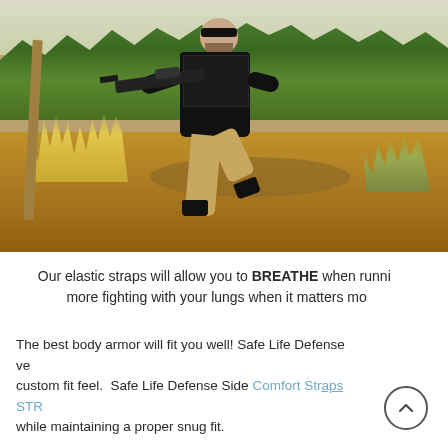[Figure (photo): A man in black tactical clothing and sunglasses carrying a rifle, running through an outdoor terrain with dry grass, mud, and green trees in the background.]
Our elastic straps will allow you to BREATHE when running, no more fighting with your lungs when it matters most.
The best body armor will fit you well! Safe Life Defense vests give a custom fit feel. Safe Life Defense Side Comfort Straps STRETCH while maintaining a proper snug fit.